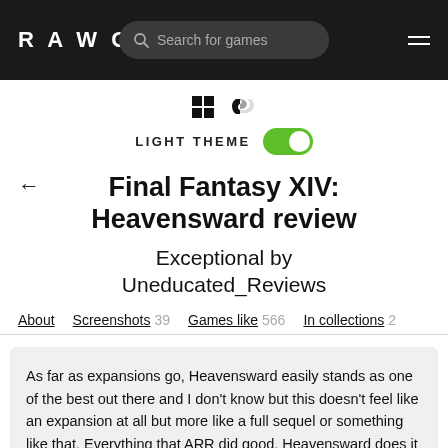RAWG  Search for games  ≡
[Figure (illustration): Windows and PlayStation platform icons]
LIGHT THEME (toggle on)
Final Fantasy XIV: Heavensward review
Exceptional by Uneducated_Reviews
About
Screenshots 39
Games like 566
In collections 2
As far as expansions go, Heavensward easily stands as one of the best out there and I don't know but this doesn't feel like an expansion at all but more like a full sequel or something like that. Everything that ARR did good, Heavensward does it